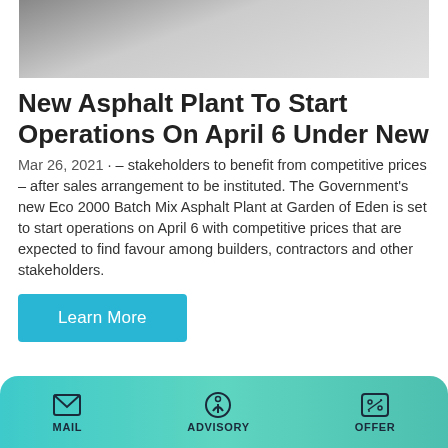[Figure (photo): Top portion of a photo showing construction equipment, partially cropped]
New Asphalt Plant To Start Operations On April 6 Under New
Mar 26, 2021 · – stakeholders to benefit from competitive prices – after sales arrangement to be instituted. The Government's new Eco 2000 Batch Mix Asphalt Plant at Garden of Eden is set to start operations on April 6 with competitive prices that are expected to find favour among builders, contractors and other stakeholders.
[Figure (photo): Photo of a large white spherical structure being installed with a yellow crane against a blue sky, with trees and white buildings in background]
MAIL  ADVISORY  OFFER